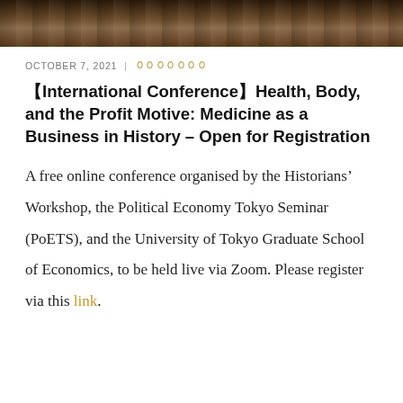[Figure (photo): A horizontal strip photograph showing a group of people at a conference or gathering]
OCTOBER 7, 2021 | 　ｏｏｏｏｏｏｏ
【International Conference】Health, Body, and the Profit Motive: Medicine as a Business in History – Open for Registration
A free online conference organised by the Historians' Workshop, the Political Economy Tokyo Seminar (PoETS), and the University of Tokyo Graduate School of Economics, to be held live via Zoom. Please register via this link.